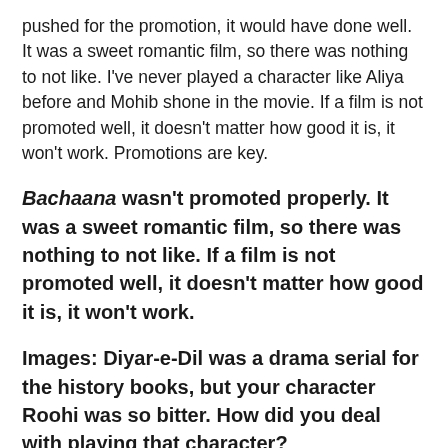pushed for the promotion, it would have done well. It was a sweet romantic film, so there was nothing to not like. I've never played a character like Aliya before and Mohib shone in the movie. If a film is not promoted well, it doesn't matter how good it is, it won't work. Promotions are key.
Bachaana wasn't promoted properly. It was a sweet romantic film, so there was nothing to not like. If a film is not promoted well, it doesn't matter how good it is, it won't work.
Images: Diyar-e-Dil was a drama serial for the history books, but your character Roohi was so bitter. How did you deal with playing that character?